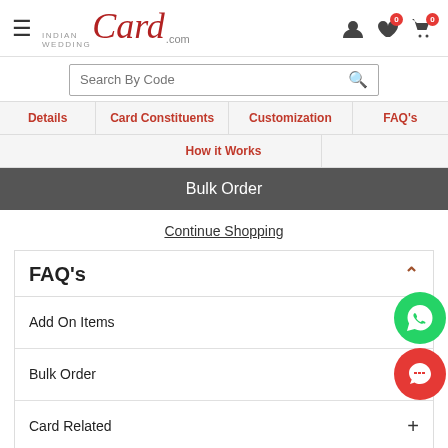IndianWeddingCard.com
Search By Code
Details | Card Constituents | Customization | FAQ's
How it Works
Bulk Order
Continue Shopping
FAQ's
Add On Items
Bulk Order
Card Related